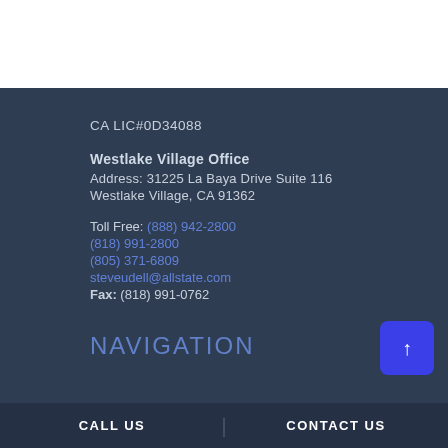CA LIC#0D34088
Westlake Village Office
Address: 31225 La Baya Drive Suite 116
Westlake Village, CA 91362
Toll Free: (888) 942-2800
(818) 991-2800
(805) 371-6809
steveudell@allstate.com
Fax: (818) 991-0762
NAVIGATION
CALL US | CONTACT US